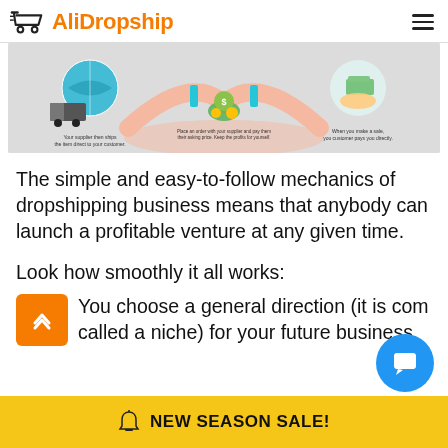AliDropship
[Figure (infographic): Dropshipping business model infographic showing: a truck with globe (Your supplier then ships the item direct to your customer), money/coins in the middle (Place an order with your supplier and pay them their asking price. Keep the profits for yourself), and a hand holding cash (When you make a sale, your customer pays you directly).]
The simple and easy-to-follow mechanics of dropshipping business means that anybody can launch a profitable venture at any given time.
Look how smoothly it all works:
You choose a general direction (it is commonly called a niche) for your future business
NEW SEASON SALE!